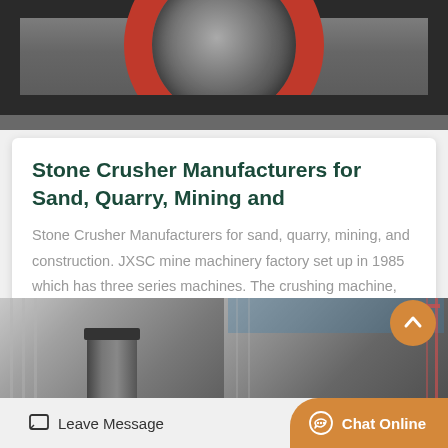[Figure (photo): Industrial stone crusher machine with red circular wheel/flywheel on a metal frame, photographed in a factory setting]
Stone Crusher Manufacturers for Sand, Quarry, Mining and
Stone Crusher Manufacturers for sand, quarry, mining, and construction. JXSC mine machinery factory set up in 1985 which has three series machines. The crushing machine, sa…
Get Price
[Figure (photo): Two industrial facility photos side by side: left shows a large cylindrical industrial vessel/tank, right shows a building exterior with industrial equipment and red overhead crane]
Leave Message
Chat Online